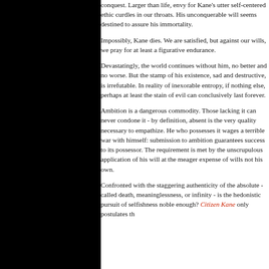conquest. Larger than life, envy for Kane's utter self-centered ethic curdles in our throats. His unconquerable will seems destined to assure his immortality.
Impossibly, Kane dies. We are satisfied, but against our wills, we pray for at least a figurative endurance.
Devastatingly, the world continues without him, no better and no worse. But the stamp of his existence, sad and destructive, is irrefutable. In reality of inexorable entropy, if nothing else, perhaps at least the stain of evil can conclusively last forever.
Ambition is a dangerous commodity. Those lacking it can never condone it - by definition, absent is the very quality necessary to empathize. He who possesses it wages a terrible war with himself: submission to ambition guarantees success to its possessor. The requirement is met by the unscrupulous application of his will at the meager expense of wills not his own.
Confronted with the staggering authenticity of the absolute - called death, meaninglessness, or infinity - is the hedonistic pursuit of selfishness noble enough? Citizen Kane only postulates th...